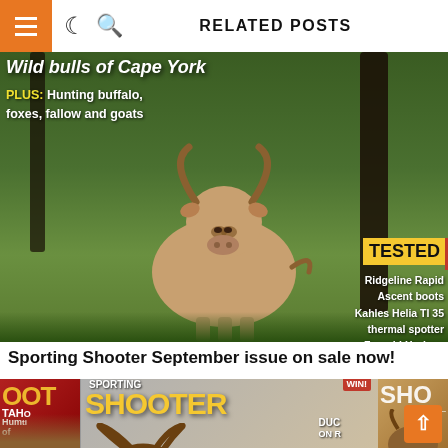RELATED POSTS
[Figure (photo): Magazine cover showing a bull/cattle animal in a forest setting with text overlays: 'Wild bulls of Cape York', 'PLUS: Hunting buffalo, foxes, fallow and goats', 'TESTED', 'Ridgeline Rapid Ascent boots', 'Kahles Helia TI 35 thermal spotter', 'Franchi Horizon Varmint: Innovation and accuracy you can afford']
Sporting Shooter September issue on sale now!
[Figure (photo): Multiple Sporting Shooter magazine covers overlapping, showing text 'SPORTING SHOOTER', 'WIN!', 'TAHOE Hunting of', 'DUC ON R', 'SHO']